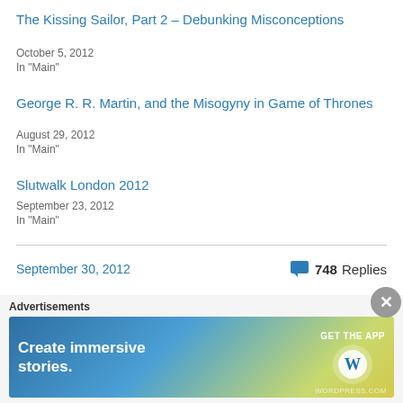The Kissing Sailor, Part 2 – Debunking Misconceptions
October 5, 2012
In "Main"
George R. R. Martin, and the Misogyny in Game of Thrones
August 29, 2012
In "Main"
Slutwalk London 2012
September 23, 2012
In "Main"
September 30, 2012     748 Replies
« Previous   Next »
Advertisements
[Figure (screenshot): WordPress advertisement banner: 'Create immersive stories. GET THE APP' with WordPress logo]